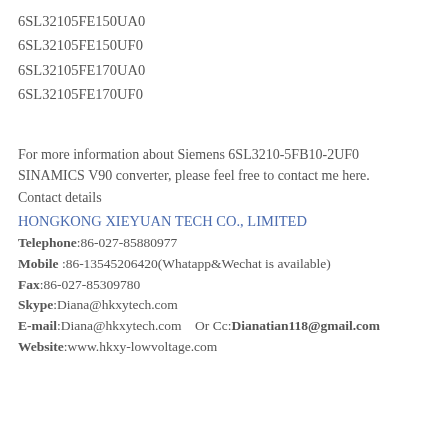6SL32105FE150UA0
6SL32105FE150UF0
6SL32105FE170UA0
6SL32105FE170UF0
For more information about Siemens 6SL3210-5FB10-2UF0 SINAMICS V90 converter, please feel free to contact me here.
Contact details
HONGKONG XIEYUAN TECH CO., LIMITED
Telephone:86-027-85880977
Mobile :86-13545206420(Whatapp&Wechat is available)
Fax:86-027-85309780
Skype:Diana@hkxytech.com
E-mail:Diana@hkxytech.com    Or Cc:Dianatian118@gmail.com
Website:www.hkxy-lowvoltage.com